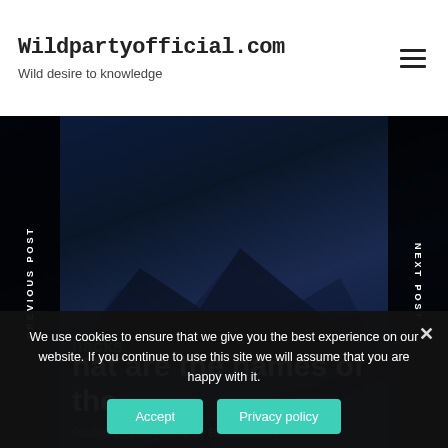Wildpartyofficial.com — Wild desire to knowledge
[Figure (photo): Dark navy blue hero image with mountain silhouette, website navigation strips on left and right reading 'PREVIOUS POST' and 'NEXT POST']
hacks
hat are the names of the...
Posted on 02/24/2020 by Bobbi Green
We use cookies to ensure that we give you the best experience on our website. If you continue to use this site we will assume that you are happy with it.